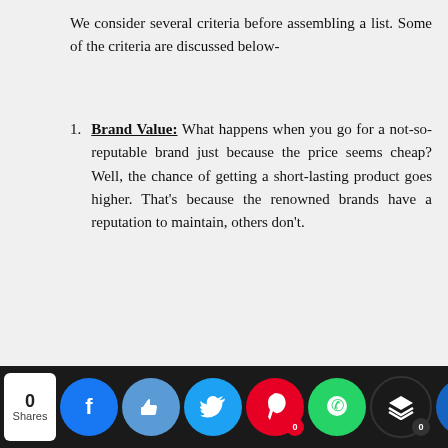We consider several criteria before assembling a list. Some of the criteria are discussed below-
Brand Value: What happens when you go for a not-so-reputable brand just because the price seems cheap? Well, the chance of getting a short-lasting product goes higher. That’s because the renowned brands have a reputation to maintain, others don’t.
0 Shares | Social share buttons (Facebook, Thumbs up, Twitter, Pinterest, WhatsApp, Layers, Crown)